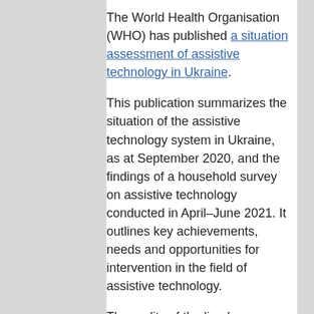The World Health Organisation (WHO) has published a situation assessment of assistive technology in Ukraine.
This publication summarizes the situation of the assistive technology system in Ukraine, as at September 2020, and the findings of a household survey on assistive technology conducted in April–June 2021. It outlines key achievements, needs and opportunities for intervention in the field of assistive technology.
The reality of the lived experience by Ukrainian people with disabilities in the context of the war is articulated clearly in this blog, Stories from Ukraine, published by the Global Disability Innovation Hub.
Enabling Devices have also published a practical guide to providing support to individuals with disabilities in Ukraine.